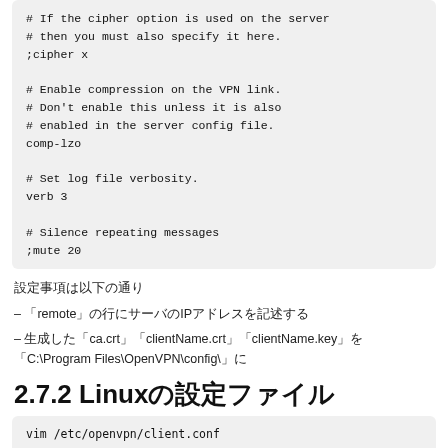# If the cipher option is used on the server
# then you must also specify it here.
;cipher x

# Enable compression on the VPN link.
# Don't enable this unless it is also
# enabled in the server config file.
comp-lzo

# Set log file verbosity.
verb 3

# Silence repeating messages
;mute 20
設定事項は以下の通り
– 「remote」の行にサーバのIPアドレスを記述する
– 生成した「ca.crt」「clientName.crt」「clientName.key」を「C:\Program Files\OpenVPN\config\」に
2.7.2 Linuxの設定ファイル
vim /etc/openvpn/client.conf